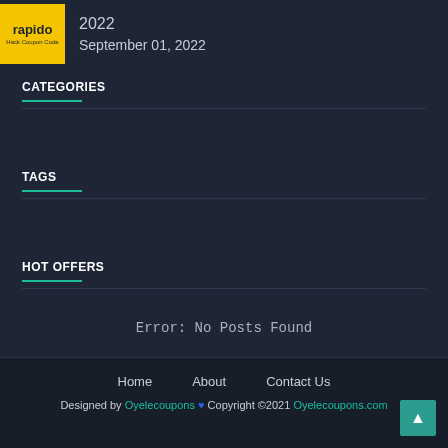[Figure (logo): Rapido logo in yellow box with 'Hack Coupon Code' subtitle]
2022
September 01, 2022
CATEGORIES
TAGS
HOT OFFERS
Error: No Posts Found
Home   About   Contact Us
Designed by Oyelecoupons ♥ Copyright ©2021 Oyelecoupons.com